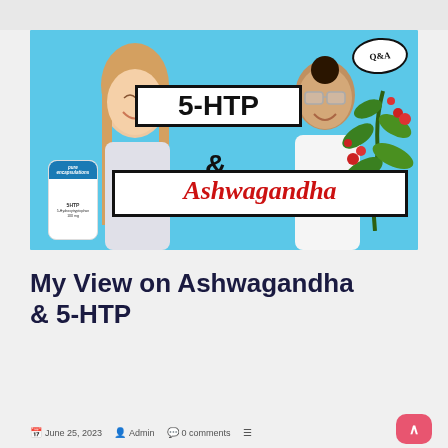[Figure (photo): Thumbnail image showing a man and woman on a blue background with supplement bottle, ashwagandha plant, text overlays '5-HTP & Ashwagandha', and a Q&A badge in the top right corner]
My View on Ashwagandha & 5-HTP
June 25, 2023   Admin   0 comments